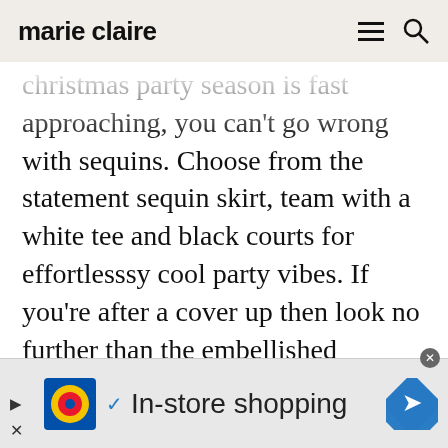marie claire
christmas party season is fast approaching, you can't go wrong with sequins. Choose from the statement sequin skirt, team with a white tee and black courts for effortlesssy cool party vibes. If you're after a cover up then look no further than the embellished bomber, throw on over a fitted roll neck and ripped denim to edge up your look.

We've gathered up the very best edit from the
[Figure (screenshot): Lidl advertisement banner with logo, checkmark, 'In-store shopping' text, and navigation arrow icon]